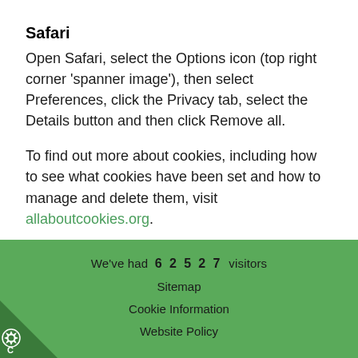Safari
Open Safari, select the Options icon (top right corner 'spanner image'), then select Preferences, click the Privacy tab, select the Details button and then click Remove all.
To find out more about cookies, including how to see what cookies have been set and how to manage and delete them, visit allaboutcookies.org.
We've had 62527 visitors
Sitemap
Cookie Information
Website Policy